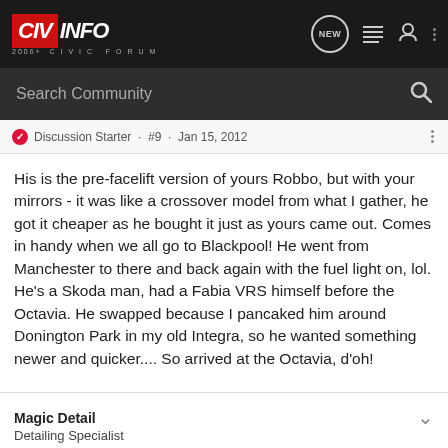CIVINFO 2006+ CIVIC FORUM
Search Community
Discussion Starter · #9 · Jan 15, 2012
His is the pre-facelift version of yours Robbo, but with your mirrors - it was like a crossover model from what I gather, he got it cheaper as he bought it just as yours came out. Comes in handy when we all go to Blackpool! He went from Manchester to there and back again with the fuel light on, lol. He's a Skoda man, had a Fabia VRS himself before the Octavia. He swapped because I pancaked him around Donington Park in my old Integra, so he wanted something newer and quicker.... So arrived at the Octavia, d'oh!
Magic Detail
Detailing Specialist